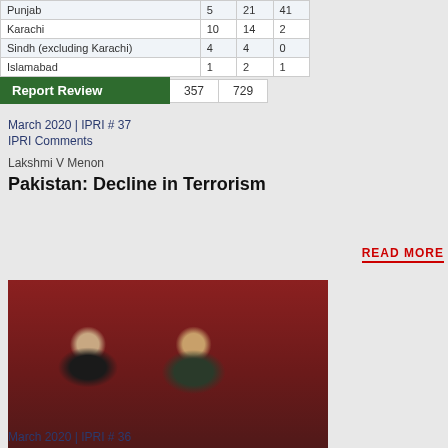|  |  |  |  |
| --- | --- | --- | --- |
| Punjab | 5 | 21 | 41 |
| Karachi | 10 | 14 | 2 |
| Sindh (excluding Karachi) | 4 | 4 | 0 |
| Islamabad | 1 | 2 | 1 |
| Report Review |  | 357 | 729 |
March 2020 | IPRI # 37
IPRI Comments
Lakshmi V Menon
Pakistan: Decline in Terrorism
READ MORE
[Figure (photo): Two men standing together in a formal room with a flag in the background. Label: Conflict Weekly 10]
Conflict Weekly 10
March 2020 | IPRI # 36